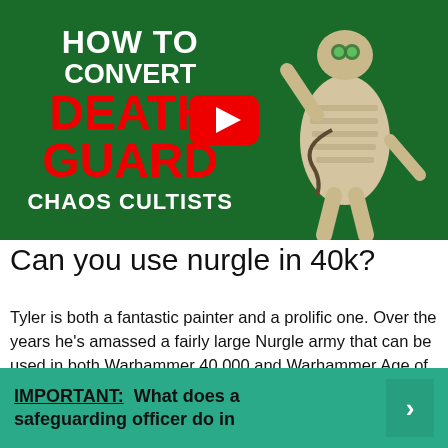[Figure (screenshot): YouTube video thumbnail showing text 'HOW TO CONVERT DEATH GUARD CHAOS CULTISTS' with a painted miniature figure on a green background, and a YouTube play button overlay.]
Can you use nurgle in 40k?
Tyler is both a fantastic painter and a prolific one. Over the years he's amassed a fairly large Nurgle army that can be used in both Warhammer 40,000 and Warhammer Age of Sigmar, as it mostly comprises Daemons.
IMPORTANT:  What does a safeguarding officer do in